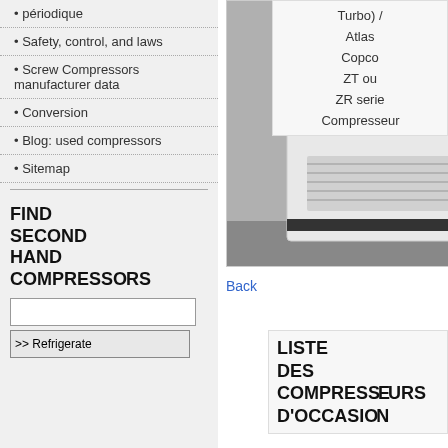périodique
Safety, control, and laws
Screw Compressors manufacturer data
Conversion
Blog: used compressors
Sitemap
FIND SECOND HAND COMPRESSORS
[Figure (photo): White industrial compressor unit in a facility, front view showing ventilation grilles and control panel on top]
Back
Turbo) / Atlas Copco ZT ou ZR serie Compresseur
LISTE DES COMPRESSEURS D'OCCASION